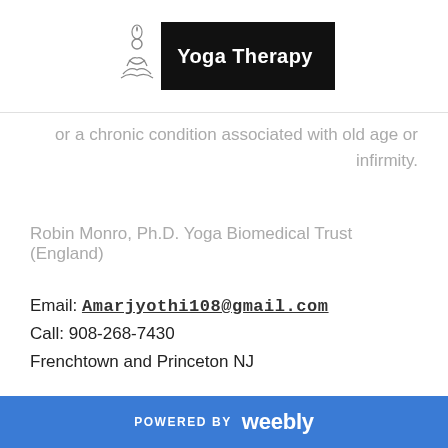Yoga Therapy
or a chronic condition associated with old age or infirmity.
Robin Monro, Ph.D. Yoga Biomedical Trust (England)
Email: Amarjyothi108@gmail.com
Call: 908-268-7430
Frenchtown and Princeton NJ
POWERED BY weebly